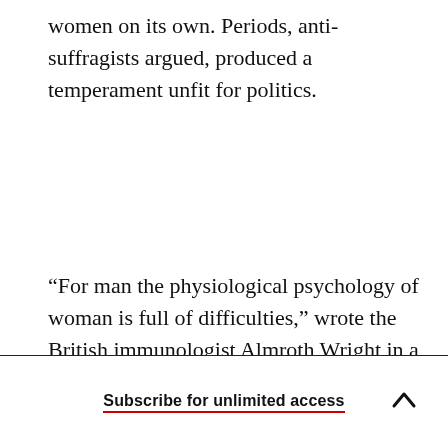women on its own. Periods, anti-suffragists argued, produced a temperament unfit for politics.
“For man the physiological psychology of woman is full of difficulties,” wrote the British immunologist Almroth Wright in a 1912 letter to The Times of
Subscribe for unlimited access